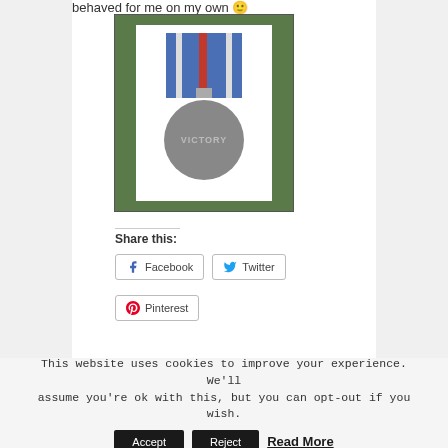behaved for me on my own 🙂
[Figure (photo): A military victory medal with blue and red ribbon on a green matted background. The circular medal is gray/silver colored with 'VICTORY' text embossed on it.]
Share this:
Facebook
Twitter
Pinterest
This website uses cookies to improve your experience. We'll assume you're ok with this, but you can opt-out if you wish.
Accept
Reject
Read More